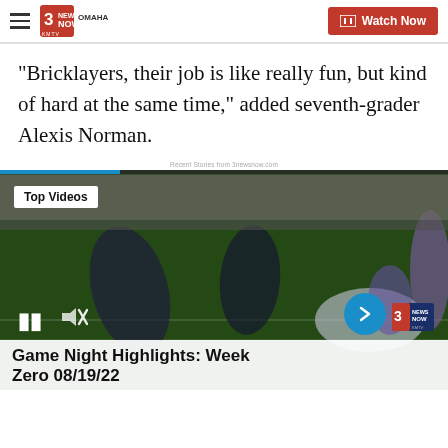3 News Now KMTV Omaha — Watch Now
"Bricklayers, their job is like really fun, but kind of hard at the same time," added seventh-grader Alexis Norman.
Recent Stories from 3newsnow.com
[Figure (screenshot): Video player showing football game footage with 'Top Videos' label, pause and mute controls, next arrow button, weather info (10:4x, 71°, KMTV), and caption bar reading 'Game Night Highlights: Week Zero 08/19/22']